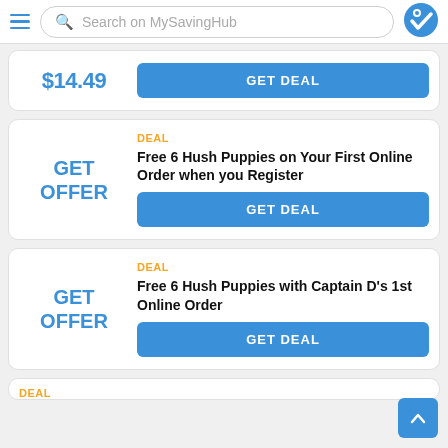Search on MySavingHub
$14.49
GET DEAL
DEAL
GET OFFER
Free 6 Hush Puppies on Your First Online Order when you Register
GET DEAL
DEAL
GET OFFER
Free 6 Hush Puppies with Captain D's 1st Online Order
GET DEAL
DEAL